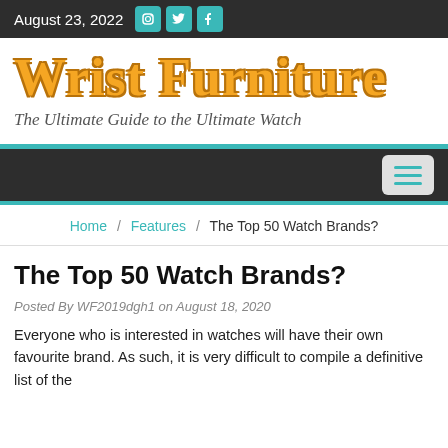August 23, 2022
Wrist Furniture
The Ultimate Guide to the Ultimate Watch
Home / Features / The Top 50 Watch Brands?
The Top 50 Watch Brands?
Posted By WF2019dgh1 on August 18, 2020
Everyone who is interested in watches will have their own favourite brand. As such, it is very difficult to compile a definitive list of the